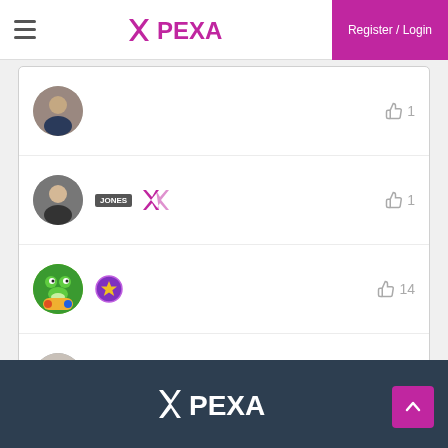PEXA — Register / Login header navigation
[Figure (screenshot): PEXA community list showing four user rows, each with a circular avatar, optional badge icons, and a like count. Row 1: man in suit, 1 like. Row 2: woman, JONES text badge, PEXA X icon, 1 like. Row 3: colorful cartoon frog avatar, purple star badge, 14 likes. Row 4: woman in dark jacket, 1 like.]
PEXA logo footer with back-to-top button